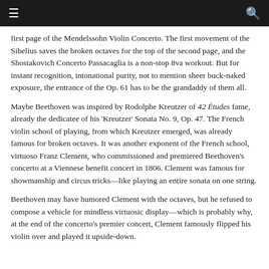≡  Q
first page of the Mendelssohn Violin Concerto. The first movement of the Sibelius saves the broken octaves for the top of the second page, and the Shostakovich Concerto Passacaglia is a non-stop 8va workout. But for instant recognition, intonational purity, not to mention sheer buck-naked exposure, the entrance of the Op. 61 has to be the grandaddy of them all.
Maybe Beethoven was inspired by Rodolphe Kreutzer of 42 Études fame, already the dedicatee of his 'Kreutzer' Sonata No. 9, Op. 47. The French violin school of playing, from which Kreutzer emerged, was already famous for broken octaves. It was another exponent of the French school, virtuoso Franz Clement, who commissioned and premiered Beethoven's concerto at a Viennese benefit concert in 1806. Clement was famous for showmanship and circus tricks—like playing an entire sonata on one string.
Beethoven may have humored Clement with the octaves, but he refused to compose a vehicle for mindless virtuosic display—which is probably why, at the end of the concerto's premier concert, Clement famously flipped his violin over and played it upside-down.